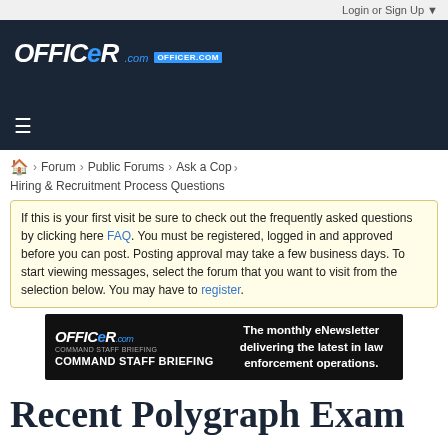Login or Sign Up ▼
[Figure (logo): Officer.com website logo on dark navy header with hamburger menu]
Forum > Public Forums > Ask a Cop > Hiring & Recruitment Process Questions
If this is your first visit be sure to check out the frequently asked questions by clicking here FAQ. You must be registered, logged in and approved before you can post. Posting approval may take a few business days. To start viewing messages, select the forum that you want to visit from the selection below. You may have to register.
[Figure (screenshot): Officer.com Command Staff Briefing advertisement banner - The monthly eNewsletter delivering the latest in law enforcement operations.]
Recent Polygraph Exam